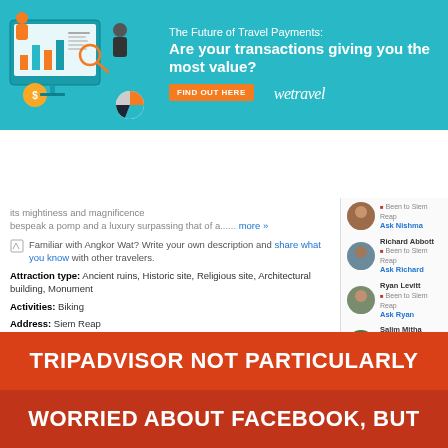[Figure (illustration): WeTravel ad banner: The Future of Travel Payments - Are your transactions giving you the most value? with FIND OUT HERE button and wetravel logo, teal background with illustrated figures]
PhocusWire navigation bar with hamburger menu and search icon
its mightiness and magnificence bespeak a pomp and a luxury surpassing that of a...... more »
Familiar with Angkor Wat? Write your own description and share what you know with other travelers.
Attraction type: Ancient ruins, Historic site, Religious site, Architectural building, Monument
Activities: Biking
Address: Siem Reap Cambodia
Best deals: Angkor Wat
Siem Reap Hotels Agoda.co.uk/Siem_Reap Amazing Deals - Hotels in Siem Reap Up to 75% off. Book
Been to Siem Reap Ask Nishma
Richard Abbott Been to Siem Reap Ask Richard
Ryan Levitt Been to Siem Reap Ask Ryan
Salim Mitha Been to Siem Reap Ask Salim
Post to your Wall or send a message.
Ask a question
TRIPADVISOR NOT PARTICULARLY
WORRIED ABOUT FACEBOOK, BUT